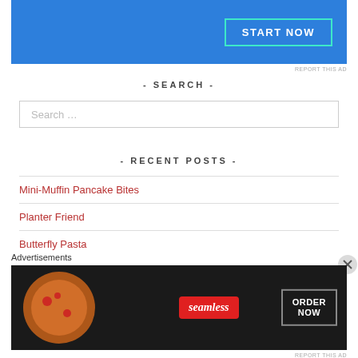[Figure (other): Blue advertisement banner with START NOW button in teal border]
REPORT THIS AD
- SEARCH -
Search …
- RECENT POSTS -
Mini-Muffin Pancake Bites
Planter Friend
Butterfly Pasta
Advertisements
[Figure (other): Seamless food delivery advertisement with pizza image and ORDER NOW button]
REPORT THIS AD